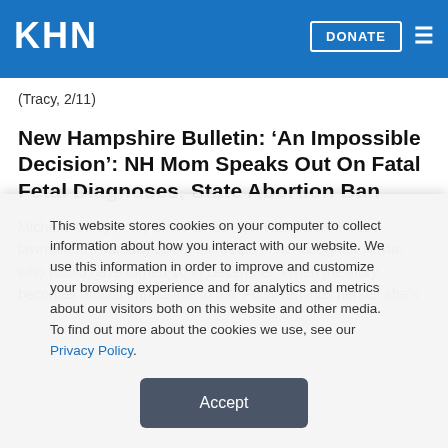KHN | DONATE
(Tracy, 2/11)
New Hampshire Bulletin: ‘An Impossible Decision’: NH Mom Speaks Out On Fatal Fetal Diagnoses, State Abortion Ban
Michelle Cilley Foisy plans to tell New Hampshire House lawmakers Thursday about the death of her daughter Kayla, who would have turned 16 in December. When the story becomes almost impossible to tell. Foisy reminds herself she’s
This website stores cookies on your computer to collect information about how you interact with our website. We use this information in order to improve and customize your browsing experience and for analytics and metrics about our visitors both on this website and other media. To find out more about the cookies we use, see our Privacy Policy.
Accept